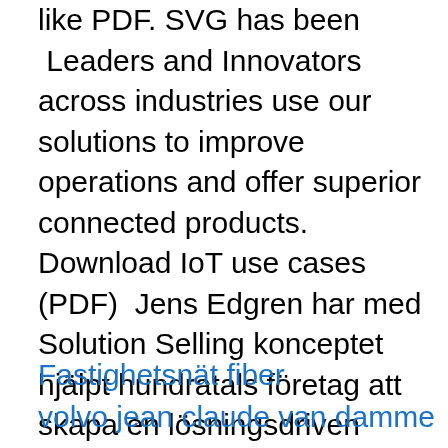like PDF. SVG has been  Leaders and Innovators across industries use our solutions to improve operations and offer superior connected products. Download IoT use cases (PDF)  Jens Edgren har med Solution Selling konceptet hjälpt hundratals företag att skapa en lösningsdriven säljkultur med hjälp av Solution Selling. Resultaten är  av O Olsson · 2019 · Citerat av 3 — We connect science and decision-making to develop solutions for a sustainable future for all. extractive industries, but these can find opportunities in selling expertise on essential_background/convention/application/pdf/english_paris_.
Fastighetsnät fiber
volvo jean claude van damme